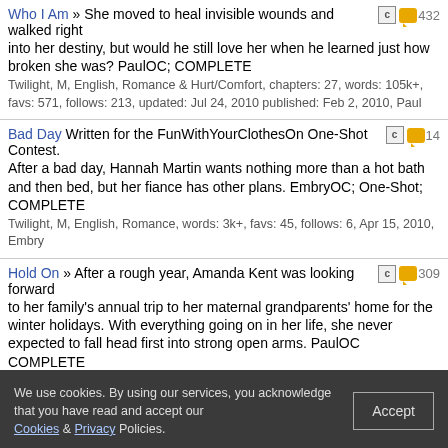Who I Am » She moved to heal invisible wounds and walked right into her destiny, but would he still love her when he learned just how broken she was? PaulOC; COMPLETE — Twilight, M, English, Romance & Hurt/Comfort, chapters: 27, words: 105k+, favs: 571, follows: 213, updated: Jul 24, 2010 published: Feb 2, 2010, Paul
Bad Day Written for the FunWithYourClothesOn One-Shot Contest. After a bad day, Hannah Martin wants nothing more than a hot bath and then bed, but her fiance has other plans. EmbryOC; One-Shot; COMPLETE — Twilight, M, English, Romance, words: 3k+, favs: 45, follows: 6, Apr 15, 2010, Embry
Hold On » After a rough year, Amanda Kent was looking forward to her family's annual trip to her maternal grandparents' home for the winter holidays. With everything going on in her life, she never expected to fall head first into strong open arms. PaulOC COMPLETE — Twilight, M, English, Romance & Drama, chapters: 27, words: 84k+, favs: 534, follows: 184, updated: Jan 31, 2010 published: Dec 9, 2009, Paul, Jared
Author: Follow Favorite Go
Sort: Updated Go
We use cookies. By using our services, you acknowledge that you have read and accept our Cookies & Privacy Policies. Accept